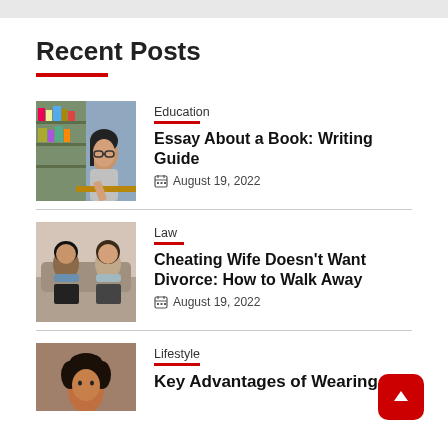Recent Posts
[Figure (photo): Young woman with glasses studying or writing in a library]
Education
Essay About a Book: Writing Guide
August 19, 2022
[Figure (photo): Couple sitting back to back, appearing upset or in conflict]
Law
Cheating Wife Doesn't Want Divorce: How to Walk Away
August 19, 2022
[Figure (photo): Young woman with curly hair]
Lifestyle
Key Advantages of Wearing